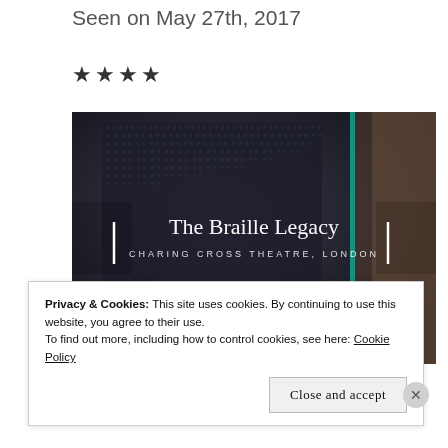Seen on May 27th, 2017
★★★★
[Figure (photo): Photo of The Braille Legacy musical programme/book with text 'The Braille Legacy' and 'CHARING CROSS THEATRE, LONDON' and 'LEGACY' overlaid, with navigation arrows on left and right sides]
Privacy & Cookies: This site uses cookies. By continuing to use this website, you agree to their use.
To find out more, including how to control cookies, see here: Cookie Policy
Close and accept